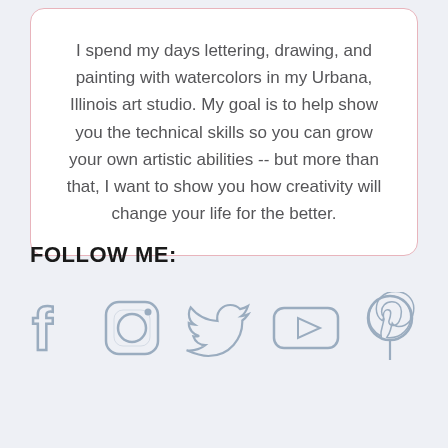I spend my days lettering, drawing, and painting with watercolors in my Urbana, Illinois art studio. My goal is to help show you the technical skills so you can grow your own artistic abilities -- but more than that, I want to show you how creativity will change your life for the better.
FOLLOW ME:
[Figure (illustration): Five social media icons in a row: Facebook (f), Instagram (camera), Twitter (bird), YouTube (play button), Pinterest (p)]